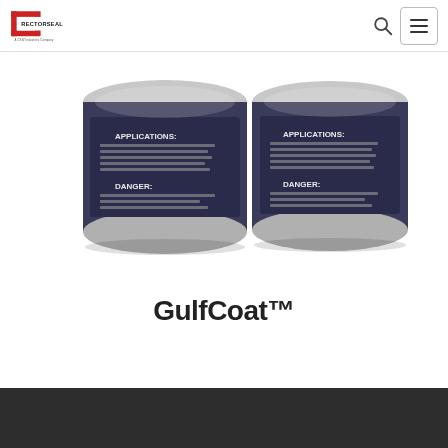RectorSeal - A CSW Industries Company
[Figure (photo): Two cylindrical product cans of GulfCoat with dark blue labels showing APPLICATIONS and DANGER text, photographed from an angle on a white background]
GulfCoat™